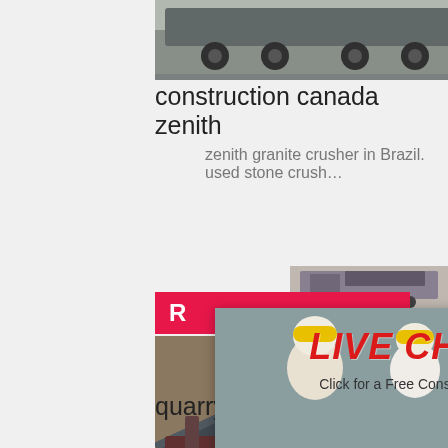road
[Figure (photo): Flatbed truck/trailer on road, construction transport]
construction canada zenith
zenith granite crusher in Brazil. used stone crush…
[Figure (photo): Live chat popup overlay with worker in hard hat, LIVE CHAT heading, Chat now and Chat later buttons]
[Figure (photo): Mining/quarrying equipment site photo]
[Figure (photo): Right sidebar with orange background showing machinery images, Enjoy 3% discount, Click to Chat, Enquiry, limingjlmofen@sina.com]
quarrying equipments